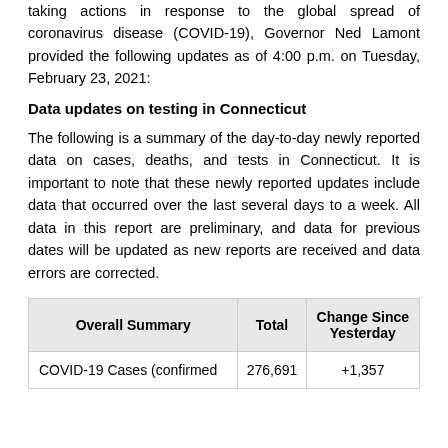taking actions in response to the global spread of coronavirus disease (COVID-19), Governor Ned Lamont provided the following updates as of 4:00 p.m. on Tuesday, February 23, 2021:
Data updates on testing in Connecticut
The following is a summary of the day-to-day newly reported data on cases, deaths, and tests in Connecticut. It is important to note that these newly reported updates include data that occurred over the last several days to a week. All data in this report are preliminary, and data for previous dates will be updated as new reports are received and data errors are corrected.
| Overall Summary | Total | Change Since Yesterday |
| --- | --- | --- |
| COVID-19 Cases (confirmed | 276,691 | +1,357 |